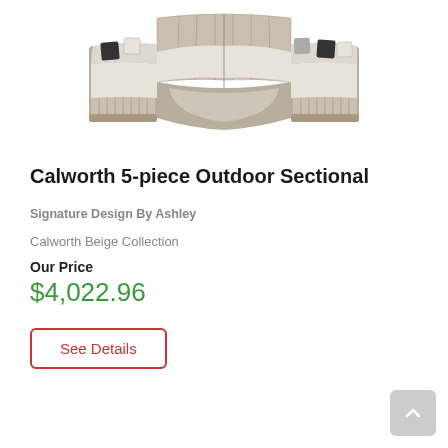[Figure (photo): Calworth 5-piece outdoor sectional sofa in beige/grey wicker with white cushions and black/white throw pillows, curved horseshoe shape, top-down front view]
Calworth 5-piece Outdoor Sectional
Signature Design By Ashley
Calworth Beige Collection
Our Price
$4,022.96
See Details